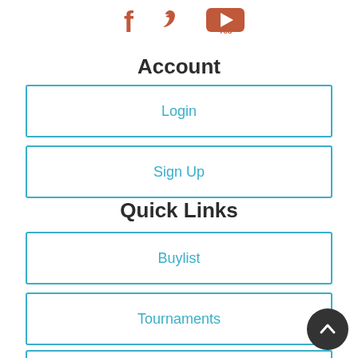[Figure (illustration): Social media icons: Facebook (f), Twitter (bird), YouTube logo in orange/red color]
Account
Login
Sign Up
Quick Links
Buylist
Tournaments
Card Condition Guide